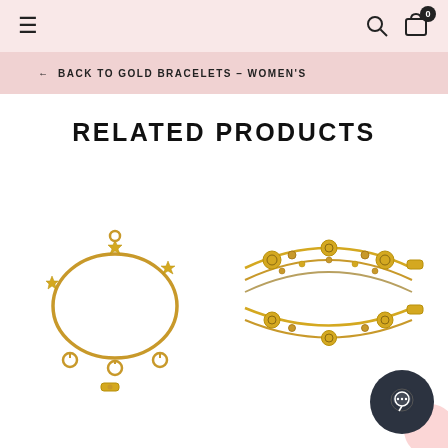≡ navigation bar with search and cart icons
← BACK TO GOLD BRACELETS – WOMEN'S
RELATED PRODUCTS
[Figure (photo): Gold charm bracelet with star charms and loop pendants on white background]
[Figure (photo): Gold beaded multi-strand bracelet with ornate ball beads on white background]